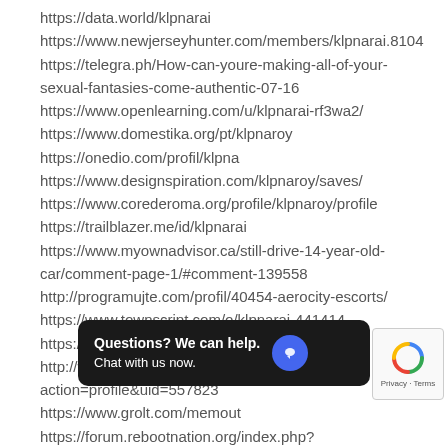https://data.world/klpnarai
https://www.newjerseyhunter.com/members/klpnarai.8104
https://telegra.ph/How-can-youre-making-all-of-your-sexual-fantasies-come-authentic-07-16
https://www.openlearning.com/u/klpnarai-rf3wa2/
https://www.domestika.org/pt/klpnaroy
https://onedio.com/profil/klpna
https://www.designspiration.com/klpnaroy/saves/
https://www.corederoma.org/profile/klpnaroy/profile
https://trailblazer.me/id/klpnarai
https://www.myownadvisor.ca/still-drive-14-year-old-car/comment-page-1/#comment-139558
http://programujte.com/profil/40454-aerocity-escorts/
https://www.townscript.com/o/klpnarai-441414
https://spinninrecords.com/profile/klpnarai
http://www.emunewz.net/forum/member.php?action=profile&uid=557823
https://www.gr...volt.com/mem...out
https://forum.rebootnation.org/index.php?